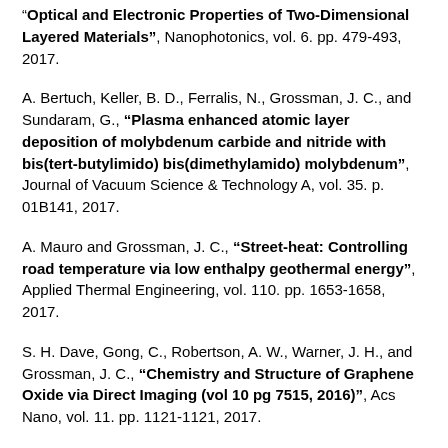"Optical and Electronic Properties of Two-Dimensional Layered Materials", Nanophotonics, vol. 6. pp. 479-493, 2017.
A. Bertuch, Keller, B. D., Ferralis, N., Grossman, J. C., and Sundaram, G., "Plasma enhanced atomic layer deposition of molybdenum carbide and nitride with bis(tert-butylimido) bis(dimethylamido) molybdenum", Journal of Vacuum Science & Technology A, vol. 35. p. 01B141, 2017.
A. Mauro and Grossman, J. C., "Street-heat: Controlling road temperature via low enthalpy geothermal energy", Applied Thermal Engineering, vol. 110. pp. 1653-1658, 2017.
S. H. Dave, Gong, C., Robertson, A. W., Warner, J. H., and Grossman, J. C., "Chemistry and Structure of Graphene Oxide via Direct Imaging (vol 10 pg 7515, 2016)", Acs Nano, vol. 11. pp. 1121-1121, 2017.
S. Zhou et al., "Atomic Structure and Dynamics of Defects